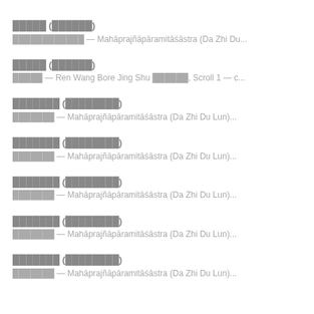█████ (██████)
████████████ — Mahāprajñāpāramitāśāstra (Da Zhi Du...
█████ (██████)
█████ — Ren Wang Bore Jing Shu ██████, Scroll 1 — c...
███████ (████████)
███████ — Mahāprajñāpāramitāśāstra (Da Zhi Du Lun)...
███████ (████████)
███████ — Mahāprajñāpāramitāśāstra (Da Zhi Du Lun)...
███████ (████████)
███████ — Mahāprajñāpāramitāśāstra (Da Zhi Du Lun)...
███████ (████████)
███████ — Mahāprajñāpāramitāśāstra (Da Zhi Du Lun)...
███████ (████████)
███████ — Mahāprajñāpāramitāśāstra (Da Zhi Du Lun)...